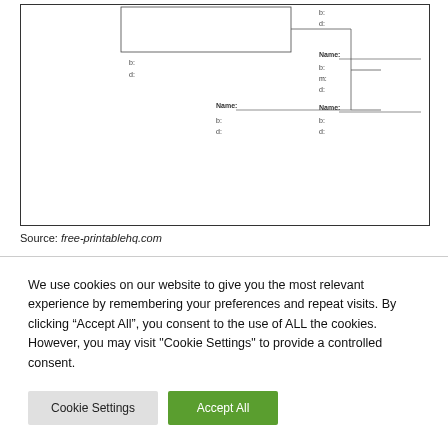[Figure (schematic): Partial view of a family tree or bracket diagram showing boxes with 'Name:' labels and fields labeled 'b:' and 'd:', connected by lines. Multiple Name boxes shown at different levels on the right side.]
Source: free-printablehq.com
We use cookies on our website to give you the most relevant experience by remembering your preferences and repeat visits. By clicking “Accept All”, you consent to the use of ALL the cookies. However, you may visit "Cookie Settings" to provide a controlled consent.